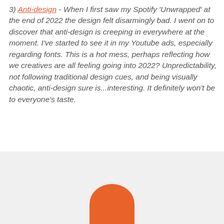3) Anti-design - When I first saw my Spotify 'Unwrapped' at the end of 2022 the design felt disarmingly bad. I went on to discover that anti-design is creeping in everywhere at the moment. I've started to see it in my Youtube ads, especially regarding fonts. This is a hot mess, perhaps reflecting how we creatives are all feeling going into 2022? Unpredictability, not following traditional design cues, and being visually chaotic, anti-design sure is...interesting. It definitely won't be to everyone's taste.
[Figure (illustration): Bottom portion of page showing a light grey background with an orange rounded shape (partial view of an object) visible at the bottom center, and a circular back-to-top arrow button in the upper right area.]